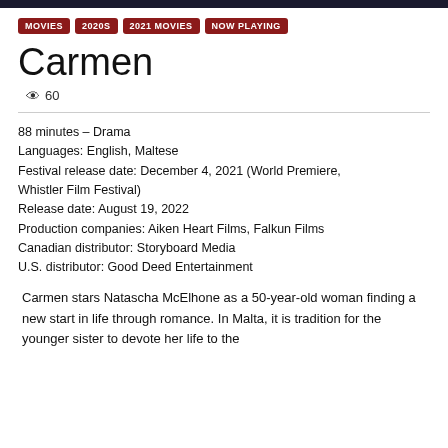MOVIES | 2020S | 2021 MOVIES | NOW PLAYING
Carmen
60
88 minutes – Drama
Languages: English, Maltese
Festival release date: December 4, 2021 (World Premiere, Whistler Film Festival)
Release date: August 19, 2022
Production companies: Aiken Heart Films, Falkun Films
Canadian distributor: Storyboard Media
U.S. distributor: Good Deed Entertainment
Carmen stars Natascha McElhone as a 50-year-old woman finding a new start in life through romance. In Malta, it is tradition for the younger sister to devote her life to the